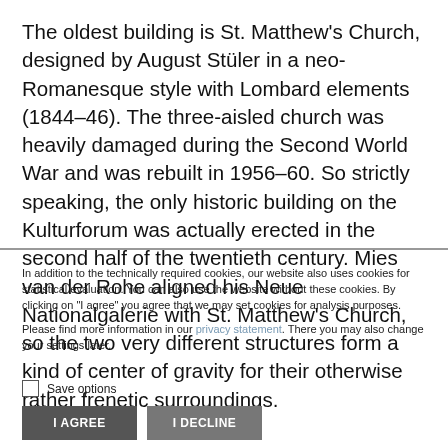The oldest building is St. Matthew's Church, designed by August Stüler in a neo-Romanesque style with Lombard elements (1844–46). The three-aisled church was heavily damaged during the Second World War and was rebuilt in 1956–60. So strictly speaking, the only historic building on the Kulturforum was actually erected in the second half of the twentieth century. Mies van der Rohe aligned his Neue Nationalgalerie with St. Matthew's Church, so the two very different structures form a kind of center of gravity for their otherwise rather frenetic surroundings.
In addition to the technically required cookies, our website also uses cookies for statistical evaluation. You can also use the website without these cookies. By clicking on "I agree" you agree that we may set cookies for analysis purposes.
Please find more information in our privacy statement. There you may also change your settings later.
Save options
I AGREE
I DECLINE